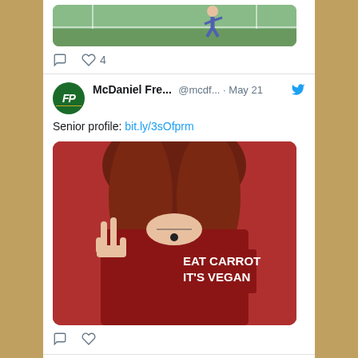[Figure (screenshot): Twitter/social media feed showing tweets from McDaniel Free Press account. Top partial tweet shows a photo with like count of 4. Second tweet dated May 21 says 'Senior profile: bit.ly/3sOfprm' with photo of person in red vegan shirt making peace sign. Third tweet dated May 19 says 'Senior Profile: Liz Mince: bit.ly/3yO1XI0' with partial photo at bottom.]